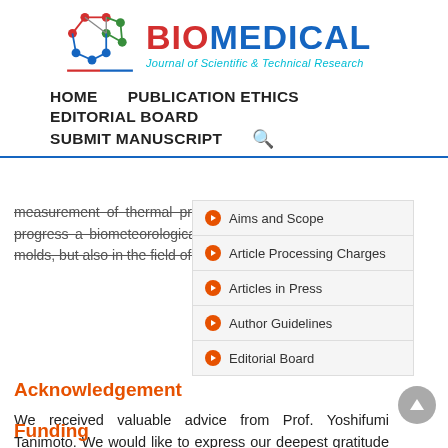[Figure (logo): Biomedical Journal of Scientific & Technical Research logo with molecule graphic]
HOME   PUBLICATION ETHICS   EDITORIAL BOARD   SUBMIT MANUSCRIPT
measurement of thermal property will be the first step to progress a biometeorological approach not only to clinical molds, but also in the field of fungal biology.
Acknowledgement
We received valuable advice from Prof. Yoshifumi Tanimoto. We would like to express our deepest gratitude for all this support.
Funding